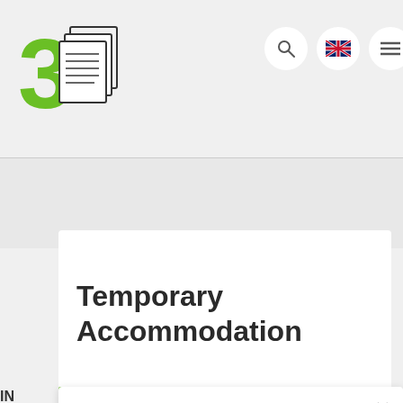[Figure (logo): Logo with green number 3 and stacked papers illustration]
Temporary Accommodation
IN
E)
BY
PRE-REGISTRATION OPEN
PRE-REGISTRATION